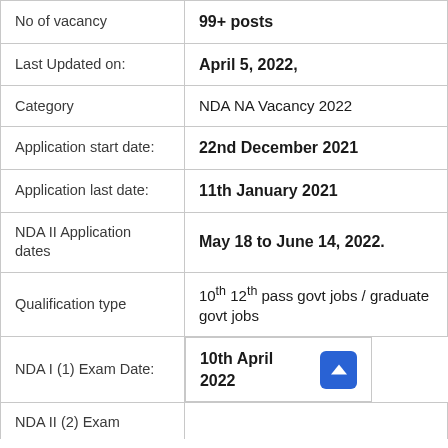| Field | Value |
| --- | --- |
| No of vacancy | 99+ posts |
| Last Updated on: | April 5, 2022, |
| Category | NDA NA Vacancy 2022 |
| Application start date: | 22nd December 2021 |
| Application last date: | 11th January 2021 |
| NDA II Application dates | May 18 to June 14, 2022. |
| Qualification type | 10th 12th pass govt jobs / graduate govt jobs |
| NDA I (1) Exam Date: | 10th April 2022 |
| NDA II (2) Exam |  |